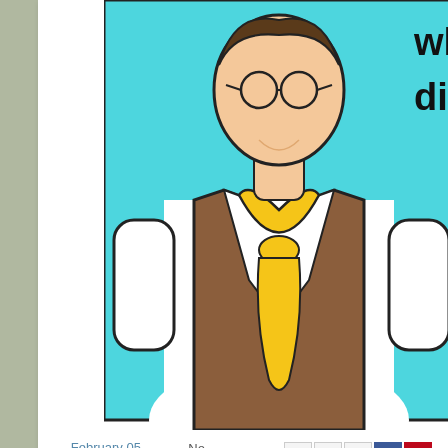[Figure (illustration): Cartoon illustration of a cowboy character wearing a brown vest and yellow neckerchief/bandana, on a teal/cyan background. Partial text visible: 'when you're outsi' and 'digging hole'. @TheTexasHoss watermark in lower right of cartoon.]
at February 05, 2015   No comments:
Labels: Cartoons
Lessons I've Learned From My Brother
Today is my brother's birthday. His name is Scott. We grew up outside of Dallas, and like most brothers, we didn't always see eye to eye... NEVER seen eye to eye because he's quite a bit taller than me... nor there. We didn't get along and it was mostly my fault. I didn't...